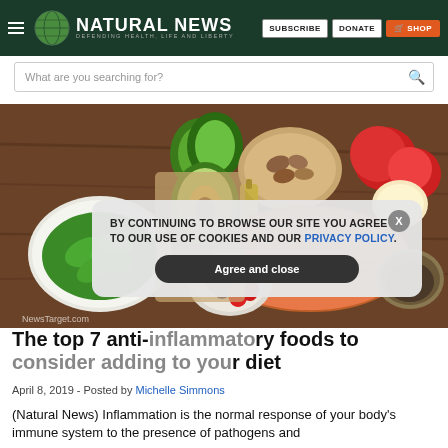NATURAL NEWS — DEFENDING HEALTH, LIFE AND LIBERTY | SUBSCRIBE | DONATE | SHOP
What are you searching for?
[Figure (photo): Overhead view of anti-inflammatory foods on a wooden surface: spinach, avocado, mixed nuts, salmon fillet, blueberries, strawberries, apples, chia seeds, and olive oil. Watermark: NewsTarget.com]
BY CONTINUING TO BROWSE OUR SITE YOU AGREE TO OUR USE OF COOKIES AND OUR PRIVACY POLICY. [Agree and close]
The top 7 anti-inflammatory foods to consider adding to your diet
April 8, 2019 - Posted by Michelle Simmons
(Natural News) Inflammation is the normal response of your body's immune system to the presence of pathogens and